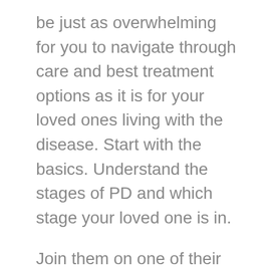be just as overwhelming for you to navigate through care and best treatment options as it is for your loved ones living with the disease. Start with the basics. Understand the stages of PD and which stage your loved one is in.
Join them on one of their doctor’s visits and ask questions if needed. If you are well informed, you will have a better understanding of their needs and how you can help.
There are many valuable resources to